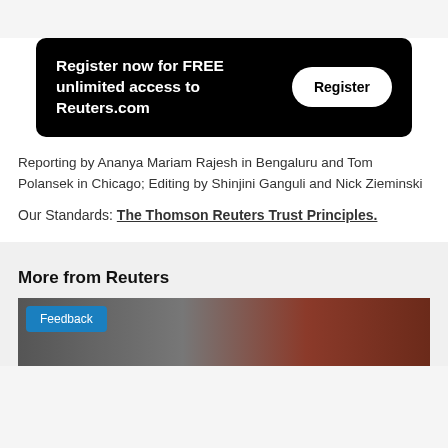[Figure (other): Register now for FREE unlimited access to Reuters.com banner with a Register button]
Reporting by Ananya Mariam Rajesh in Bengaluru and Tom Polansek in Chicago; Editing by Shinjini Ganguli and Nick Zieminski
Our Standards: The Thomson Reuters Trust Principles.
More from Reuters
[Figure (photo): Photo strip showing news imagery at the bottom of the page with a Feedback button overlay]